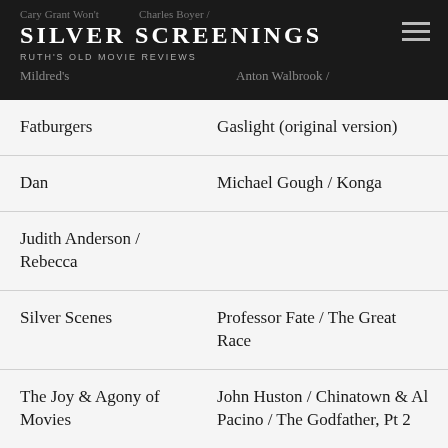SILVER SCREENINGS
RUTH'S OLD MOVIE REVIEWS
|  |  |
| --- | --- |
| Fatburgers | Gaslight (original version) |
| Dan | Michael Gough / Konga |
| Judith Anderson / Rebecca |  |
| Silver Scenes | Professor Fate / The Great Race |
| The Joy & Agony of Movies | John Huston / Chinatown & Al Pacino / The Godfather, Pt 2 |
| Mad Woman and Muses | Bette Davis / The Little Foxes |
| The Great | Disney villainesses |